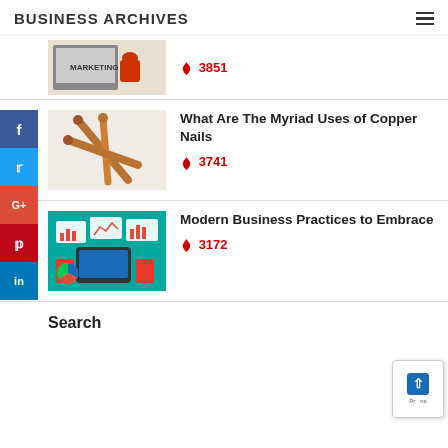BUSINESS ARCHIVES
[Figure (screenshot): Marketing image with red mug and laptop showing MARKETING text]
🔥 3851
[Figure (photo): Copper nails crossed together]
What Are The Myriad Uses of Copper Nails
🔥 3741
[Figure (illustration): Teal background with business charts and tablet illustration]
Modern Business Practices to Embrace
🔥 3172
Search